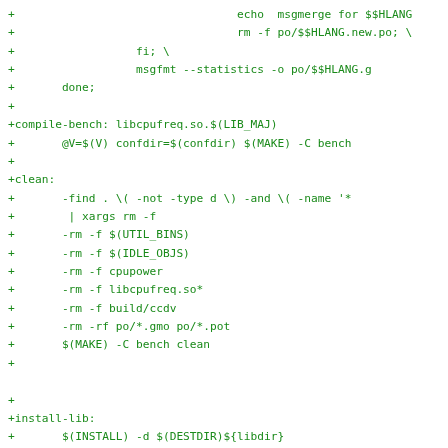+                                 echo  msgmerge for $$HLANG
+                                 rm -f po/$$HLANG.new.po; \
+                  fi; \
+                  msgfmt --statistics -o po/$$HLANG.g
+       done;
+
+compile-bench: libcpufreq.so.$(LIB_MAJ)
+       @V=$(V) confdir=$(confdir) $(MAKE) -C bench
+
+clean:
+       -find . \( -not -type d \) -and \( -name '*
+        | xargs rm -f
+       -rm -f $(UTIL_BINS)
+       -rm -f $(IDLE_OBJS)
+       -rm -f cpupower
+       -rm -f libcpufreq.so*
+       -rm -f build/ccdv
+       -rm -rf po/*.gmo po/*.pot
+       $(MAKE) -C bench clean
+
+
+install-lib:
+       $(INSTALL) -d $(DESTDIR)${libdir}
+       $(CP) libcpufreq.so* $(DESTDIR)${libdir}/
+       $(INSTALL) -d $(DESTDIR)${includedir}
+       $(INSTALL_DATA) lib/cpufreq.h $(DESTDIR)${i
+